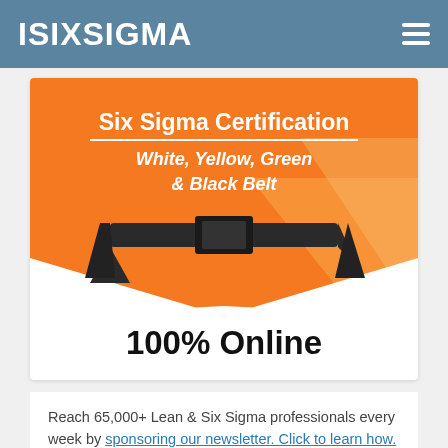ISIXSIGMA
[Figure (illustration): Six Sigma Certification advertisement banner showing White, Yellow, Green & Black Belt options with orange background, a black belt graphic, and '100% Online' text below]
Reach 65,000+ Lean & Six Sigma professionals every week by sponsoring our newsletter. Click to learn how.